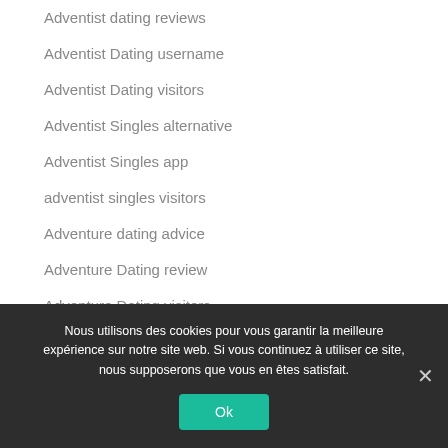Adventist dating reviews
Adventist Dating username
Adventist Dating visitors
Adventist Singles alternative
Adventist Singles app
adventist singles visitors
Adventure dating advice
Adventure Dating review
Adventure Dating visitors
advice
African Dating review (partial)
Nous utilisons des cookies pour vous garantir la meilleure expérience sur notre site web. Si vous continuez à utiliser ce site, nous supposerons que vous en êtes satisfait.
Ok